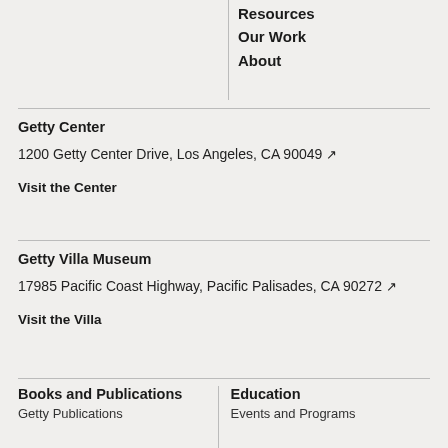Resources
Our Work
About
Getty Center
1200 Getty Center Drive, Los Angeles, CA 90049 ↗
Visit the Center
Getty Villa Museum
17985 Pacific Coast Highway, Pacific Palisades, CA 90272 ↗
Visit the Villa
Books and Publications
Getty Publications
Education
Events and Programs